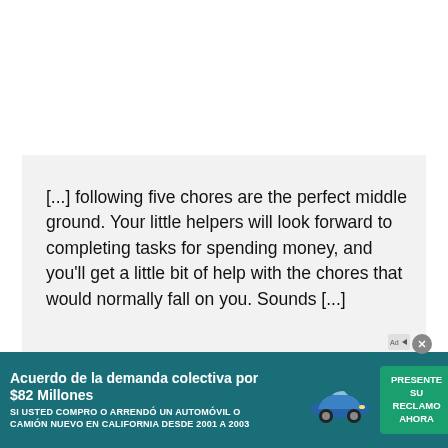[...] following five chores are the perfect middle ground. Your little helpers will look forward to completing tasks for spending money, and you'll get a little bit of help with the chores that would normally fall on you. Sounds [...]
[Figure (other): Advertisement banner in teal/green color. Text reads 'Acuerdo de la demanda colectiva por $82 Millones' with subtext 'SI USTED COMPRO O ARRENDÓ UN AUTOMÓVIL O CAMIÓN NUEVO EN CALIFORNIA DESDE 2001 A 2003'. Shows a blue car image and a green CTA button 'PRESENTE SU RECLAMO AHORA' with arrow.]